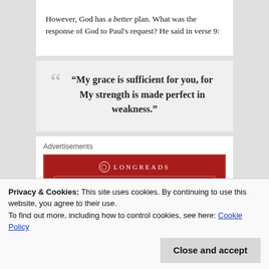However, God has a better plan. What was the response of God to Paul's request? He said in verse 9:
“My grace is sufficient for you, for My strength is made perfect in weakness.”
[Figure (other): Longreads advertisement banner with red background. Logo: circle with L, text LONGREADS. Tagline: The best stories on the web – ours, and everyone else’s.]
Privacy & Cookies: This site uses cookies. By continuing to use this website, you agree to their use.
To find out more, including how to control cookies, see here: Cookie Policy
happens: we become sick. we say, I’m healthy